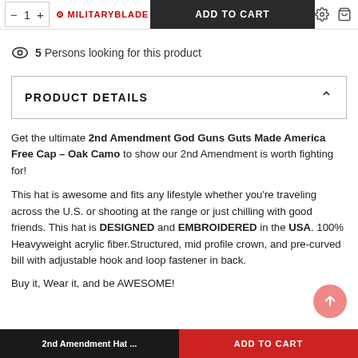[Figure (screenshot): Top navigation bar with quantity selector (minus, 1, plus), Military Blade logo, ADD TO CART button, settings icon, cart icon]
👁 5 Persons looking for this product
PRODUCT DETAILS
Get the ultimate 2nd Amendment God Guns Guts Made America Free Cap – Oak Camo to show our 2nd Amendment is worth fighting for!
This hat is awesome and fits any lifestyle whether you're traveling across the U.S. or shooting at the range or just chilling with good friends. This hat is DESIGNED and EMBROIDERED in the USA. 100% Heavyweight acrylic fiber.Structured, mid profile crown, and pre-curved bill with adjustable hook and loop fastener in back.
Buy it, Wear it, and be AWESOME!
2nd Amendment Hat ... | ADD TO CART